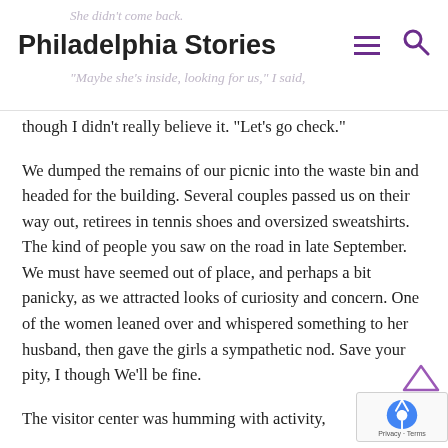Philadelphia Stories
though I didn't really believe it. “Let’s go check.”
We dumped the remains of our picnic into the waste bin and headed for the building. Several couples passed us on their way out, retirees in tennis shoes and oversized sweatshirts. The kind of people you saw on the road in late September. We must have seemed out of place, and perhaps a bit panicky, as we attracted looks of curiosity and concern. One of the women leaned over and whispered something to her husband, then gave the girls a sympathetic nod. Save your pity, I though We’ll be fine.
The visitor center was humming with activity,